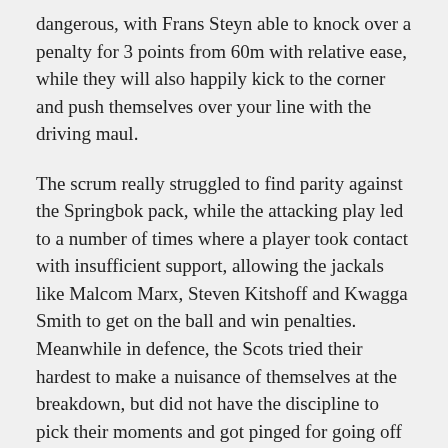dangerous, with Frans Steyn able to knock over a penalty for 3 points from 60m with relative ease, while they will also happily kick to the corner and push themselves over your line with the driving maul.
The scrum really struggled to find parity against the Springbok pack, while the attacking play led to a number of times where a player took contact with insufficient support, allowing the jackals like Malcom Marx, Steven Kitshoff and Kwagga Smith to get on the ball and win penalties. Meanwhile in defence, the Scots tried their hardest to make a nuisance of themselves at the breakdown, but did not have the discipline to pick their moments and got pinged for going off their feet or not rolling away quick enough.